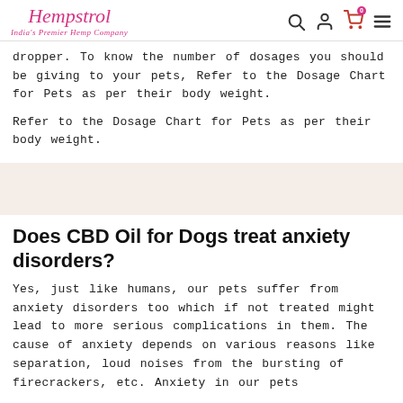Hempstrol – India's Premier Hemp Company
dropper. To know the number of dosages you should be giving to your pets, Refer to the Dosage Chart for Pets as per their body weight.
Refer to the Dosage Chart for Pets as per their body weight.
Does CBD Oil for Dogs treat anxiety disorders?
Yes, just like humans, our pets suffer from anxiety disorders too which if not treated might lead to more serious complications in them. The cause of anxiety depends on various reasons like separation, loud noises from the bursting of firecrackers, etc. Anxiety in our pets